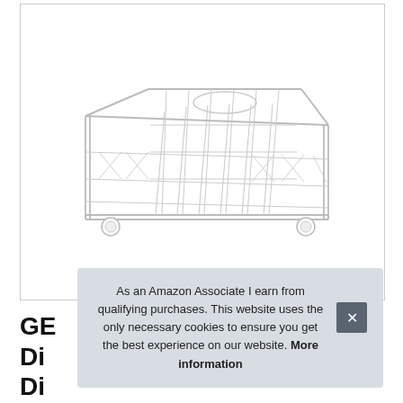[Figure (photo): A white wire dishwasher rack/basket with wheels, shown from a slight angle on a white background, inside a bordered product image box.]
As an Amazon Associate I earn from qualifying purchases. This website uses the only necessary cookies to ensure you get the best experience on our website. More information
GE Di Di...